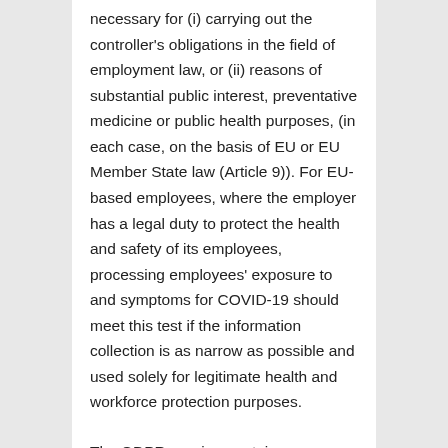necessary for (i) carrying out the controller's obligations in the field of employment law, or (ii) reasons of substantial public interest, preventative medicine or public health purposes, (in each case, on the basis of EU or EU Member State law (Article 9)). For EU-based employees, where the employer has a legal duty to protect the health and safety of its employees, processing employees' exposure to and symptoms for COVID-19 should meet this test if the information collection is as narrow as possible and used solely for legitimate health and workforce protection purposes.
The GDPR requires certain disclosures to be made to individuals when their data is